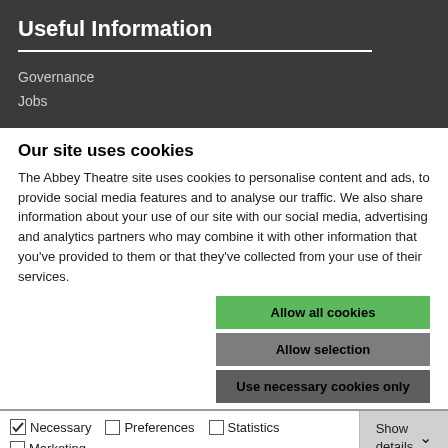Useful Information
Governance
Jobs
Our site uses cookies
The Abbey Theatre site uses cookies to personalise content and ads, to provide social media features and to analyse our traffic. We also share information about your use of our site with our social media, advertising and analytics partners who may combine it with other information that you've provided to them or that they've collected from your use of their services.
Allow all cookies
Allow selection
Use necessary cookies only
Necessary  Preferences  Statistics  Marketing  Show details